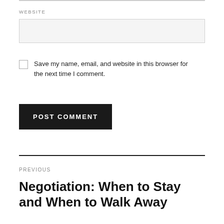WEBSITE
Save my name, email, and website in this browser for the next time I comment.
POST COMMENT
PREVIOUS
Negotiation: When to Stay and When to Walk Away